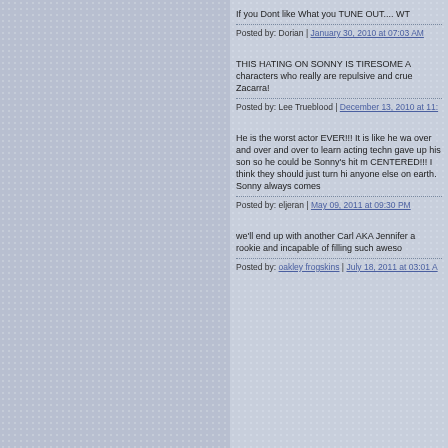If you Dont like What you TUNE OUT.... WT
Posted by: Dorian | January 30, 2010 at 07:03 AM
THIS HATING ON SONNY IS TIRESOME A characters who really are repulsive and crue Zacarra!
Posted by: Lee Trueblood | December 13, 2010 at 11:
He is the worst actor EVER!!! It is like he wa over and over and over to learn acting techn gave up his son so he could be Sonny's hit m CENTERED!!! I think they should just turn hi anyone else on earth. Sonny always comes
Posted by: eljeran | May 09, 2011 at 09:30 PM
we'll end up with another Carl AKA Jennifer a rookie and incapable of filling such aweso
Posted by: oakley frogskins | July 18, 2011 at 03:01 A